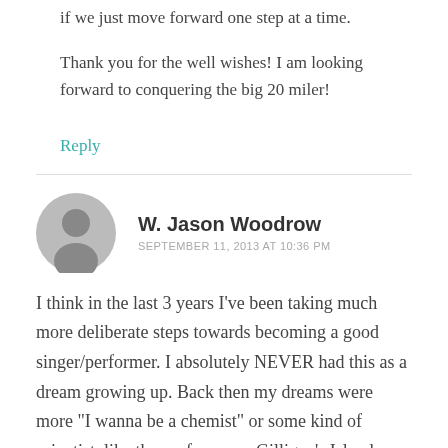if we just move forward one step at a time.
Thank you for the well wishes! I am looking forward to conquering the big 20 miler!
Reply
[Figure (illustration): Gray circular avatar silhouette icon]
W. Jason Woodrow
SEPTEMBER 11, 2013 AT 10:36 PM
I think in the last 3 years I’ve been taking much more deliberate steps towards becoming a good singer/performer. I absolutely NEVER had this as a dream growing up. Back then my dreams were more “I wanna be a chemist” or some kind of scientist, like the professor on Gilligan’s Island. Eventually,